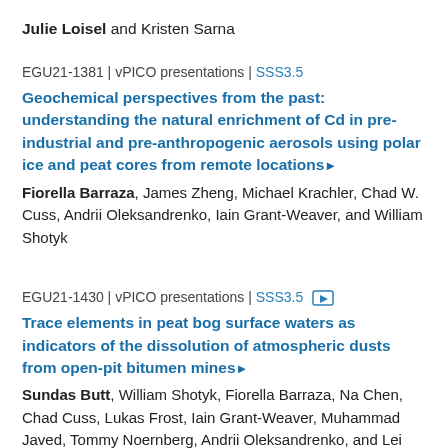Julie Loisel and Kristen Sarna
EGU21-1381 | vPICO presentations | SSS3.5
Geochemical perspectives from the past: understanding the natural enrichment of Cd in pre-industrial and pre-anthropogenic aerosols using polar ice and peat cores from remote locations▸
Fiorella Barraza, James Zheng, Michael Krachler, Chad W. Cuss, Andrii Oleksandrenko, Iain Grant-Weaver, and William Shotyk
EGU21-1430 | vPICO presentations | SSS3.5
Trace elements in peat bog surface waters as indicators of the dissolution of atmospheric dusts from open-pit bitumen mines▸
Sundas Butt, William Shotyk, Fiorella Barraza, Na Chen, Chad Cuss, Lukas Frost, Iain Grant-Weaver, Muhammad Javed, Tommy Noernberg, Andrii Oleksandrenko, and Lei Rei